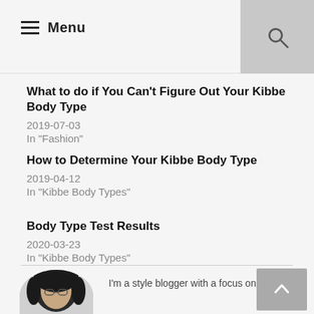Menu
What to do if You Can't Figure Out Your Kibbe Body Type
2019-07-03
In "Fashion"
How to Determine Your Kibbe Body Type
2019-04-12
In "Kibbe Body Types"
Body Type Test Results
2020-03-23
In "Kibbe Body Types"
[Figure (photo): Profile photo of a dark-haired woman, cropped to head and shoulders]
I'm a style blogger with a focus on